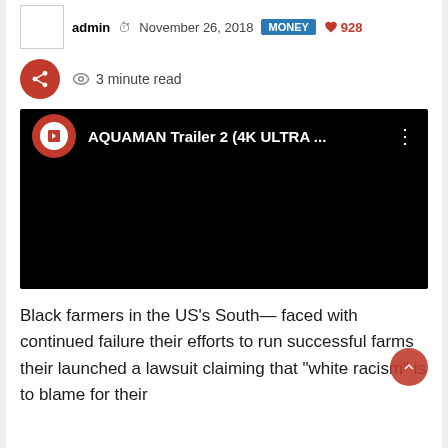admin  November 26, 2018  MONEY  928
3 minute read
[Figure (screenshot): Embedded YouTube video player showing AQUAMAN Trailer 2 (4K ULTRA ... with a red circular logo and three-dot menu on a black background]
Black farmers in the US’s South— faced with continued failure their efforts to run successful farms their launched a lawsuit claiming that “white racism” is to blame for their